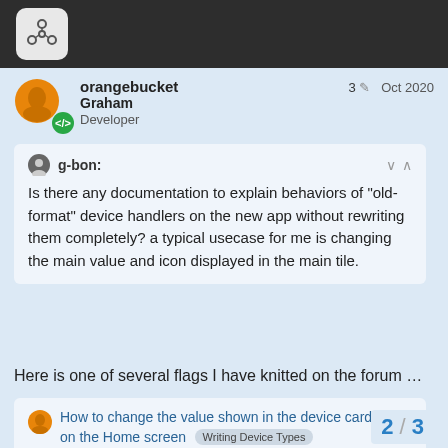[Figure (logo): Dark top navigation bar with a circular logo icon showing connected nodes on a light rounded square background]
orangebucket Graham Developer  3  Oct 2020
g-bon:
Is there any documentation to explain behaviors of "old-format" device handlers on the new app without rewriting them completely? a typical usecase for me is changing the main value and icon displayed in the main tile.
Here is one of several flags I have knitted on the forum …
How to change the value shown in the device card on the Home screen  Writing Device Types
OK, firstly bear in mind that you may fin
a bit arcane, complicated or think that it
2 / 3